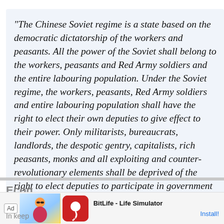“The Chinese Soviet regime is a state based on the democratic dictatorship of the workers and peasants. All the power of the Soviet shall belong to the workers, peasants and Red Army soldiers and the entire labouring population. Under the Soviet regime, the workers, peasants, Red Army soldiers and entire labouring population shall have the right to elect their own deputies to give effect to their power. Only militarists, bureaucrats, landlords, the despotic gentry, capitalists, rich peasants, monks and all exploiting and counter-revolutionary elements shall be deprived of the right to elect deputies to participate in government and to enjoy political freedom...”
Econ...
In keep...
[Figure (screenshot): Advertisement banner for BitLife - Life Simulator app with Ad label, illustrated character graphic, app icon, title text and Install button]